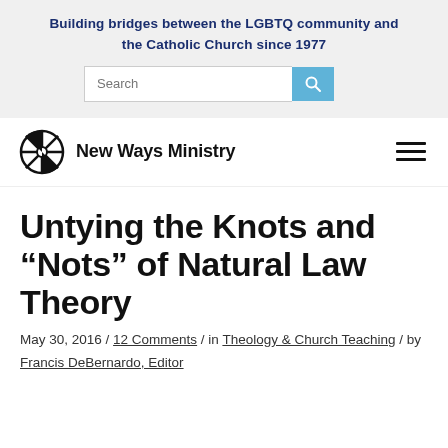Building bridges between the LGBTQ community and the Catholic Church since 1977
[Figure (screenshot): Search bar with blue search button icon]
[Figure (logo): New Ways Ministry logo with wheel/compass icon and text 'New Ways Ministry', with hamburger menu icon on right]
Untying the Knots and “Nots” of Natural Law Theory
May 30, 2016 / 12 Comments / in Theology & Church Teaching / by Francis DeBernardo, Editor